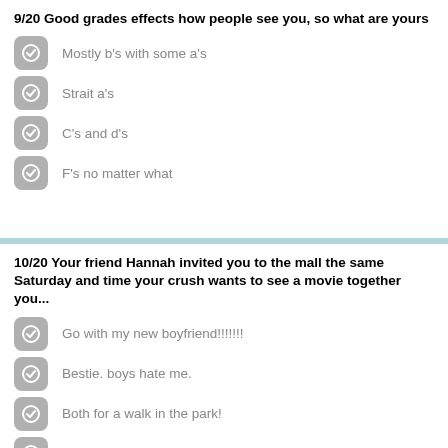9/20 Good grades effects how people see you, so what are yours
Mostly b's with some a's
Strait a's
C's and d's
F's no matter what
10/20 Your friend Hannah invited you to the mall the same Saturday and time your crush wants to see a movie together you...
Go with my new boyfriend!!!!!!!
Bestie. boys hate me.
Both for a walk in the park!
None